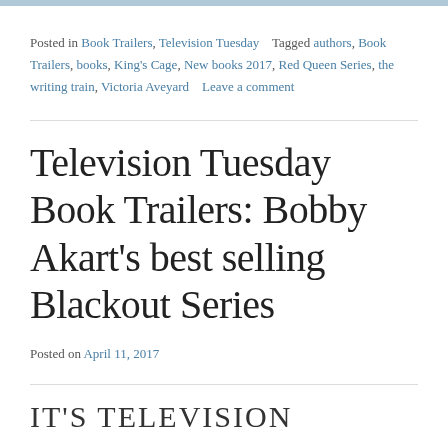Posted in Book Trailers, Television Tuesday   Tagged authors, Book Trailers, books, King's Cage, New books 2017, Red Queen Series, the writing train, Victoria Aveyard   Leave a comment
Television Tuesday Book Trailers: Bobby Akart's best selling Blackout Series
Posted on April 11, 2017
IT'S TELEVISION